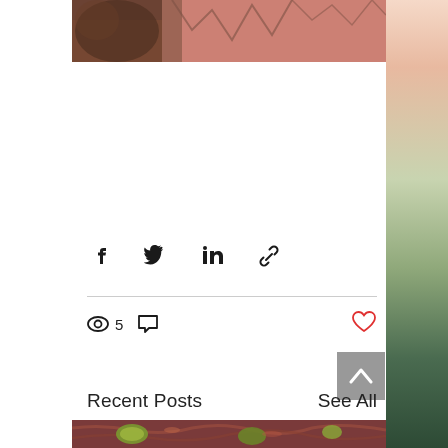[Figure (photo): Partial cropped view of a bird (owl) against pinkish/reddish background with bare tree branches, top portion of blog post image]
[Figure (infographic): Social share buttons row: Facebook, Twitter, LinkedIn, and link/chain icon]
5
[Figure (infographic): View count icon (eye) showing 5 views, comment bubble icon, and red heart like button]
Recent Posts
See All
[Figure (photo): Partial cropped food photo showing pulled/shredded meat (possibly pork) with green peppers/pepperoncini on top, bottom of page]